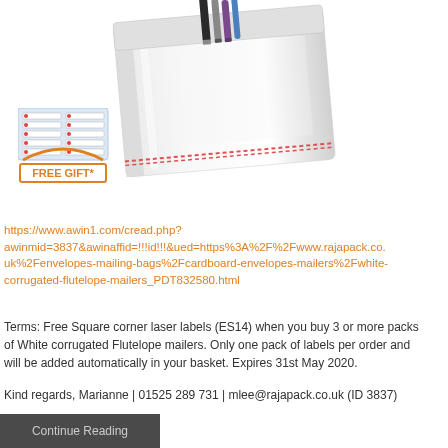[Figure (photo): White corrugated Flutelope mailer bag open at top showing pens and items inside, with a 'FREE GIFT*' badge in bottom-left showing square corner laser labels (ES14)]
https://www.awin1.com/cread.php?awinmid=3837&awinaffid=!!!id!!!&ued=https%3A%2F%2Fwww.rajapack.co.uk%2Fenvelopes-mailing-bags%2Fcardboard-envelopes-mailers%2Fwhite-corrugated-flutelope-mailers_PDT832580.html
Terms: Free Square corner laser labels (ES14) when you buy 3 or more packs of White corrugated Flutelope mailers. Only one pack of labels per order and will be added automatically in your basket. Expires 31st May 2020.
Kind regards, Marianne | 01525 289 731 | mlee@rajapack.co.uk (ID 3837)
Continue Reading